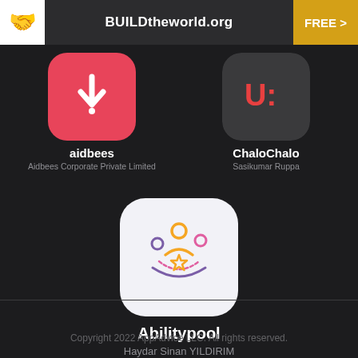BUILDtheworld.org  FREE >
[Figure (logo): aidbees app icon: pink/red rounded square with white downward arrow symbol]
aidbees
Aidbees Corporate Private Limited
[Figure (logo): ChaloChalo app icon: dark grey rounded square with orange-red 'U:' text]
ChaloChalo
Sasikumar Ruppa
[Figure (logo): Abilitypool app icon: white rounded square with colorful people/star illustration in orange, purple, and pink]
Abilitypool
Haydar Sinan YILDIRIM
Copyright 2022 AppAdvice LLC. All rights reserved.